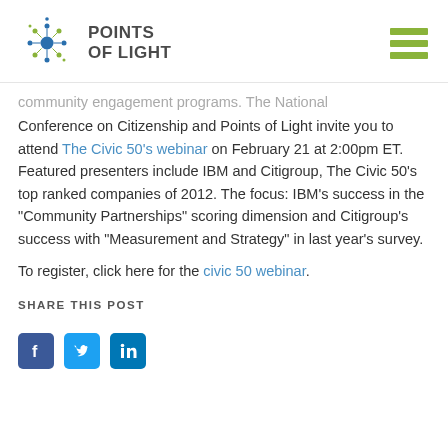POINTS OF LIGHT
community engagement programs. The National Conference on Citizenship and Points of Light invite you to attend The Civic 50’s webinar on February 21 at 2:00pm ET. Featured presenters include IBM and Citigroup, The Civic 50’s top ranked companies of 2012. The focus: IBM’s success in the “Community Partnerships” scoring dimension and Citigroup’s success with “Measurement and Strategy” in last year’s survey.
To register, click here for the civic 50 webinar.
SHARE THIS POST
[Figure (other): Social media share icons: Facebook, Twitter, LinkedIn]